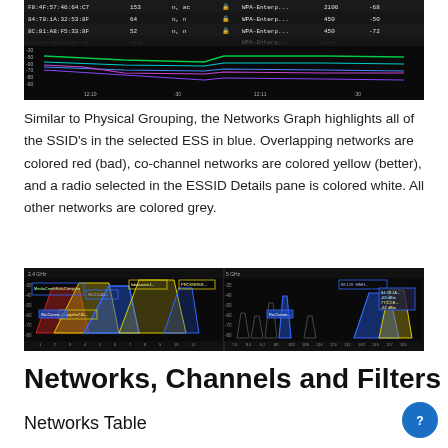[Figure (screenshot): Screenshot of a network monitoring interface showing a table of wireless networks (MAC addresses, signal strength, WPA-Enterp security) and a time-series graph of signal strength over time with colored lines on a black background. Time axis shows 12:10 to 12:11 and :30 timestamps.]
Similar to Physical Grouping, the Networks Graph highlights all of the SSID's in the selected ESS in blue. Overlapping networks are colored red (bad), co-channel networks are colored yellow (better), and a radio selected in the ESSID Details pane is colored white. All other networks are colored grey.
[Figure (screenshot): Screenshot showing two network channel graphs side by side (2.4 GHz and 5 GHz) with colored trapezoid-shaped overlapping network channel visualizations on a black background. Networks shown in blue, yellow, and red colors indicating channel relationships.]
Networks, Channels and Filters
Networks Table